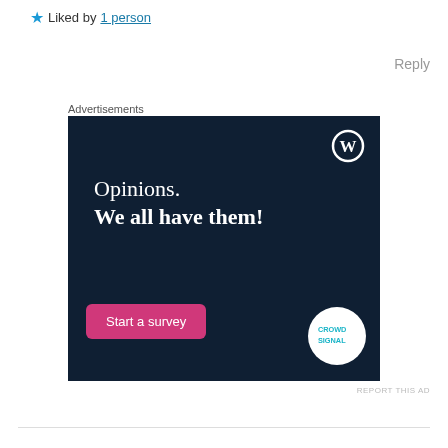★ Liked by 1 person
Reply
Advertisements
[Figure (illustration): WordPress/CrowdSignal advertisement banner with dark navy background. Text reads 'Opinions. We all have them!' with a pink 'Start a survey' button and CrowdSignal logo circle. WordPress logo in top right corner.]
REPORT THIS AD